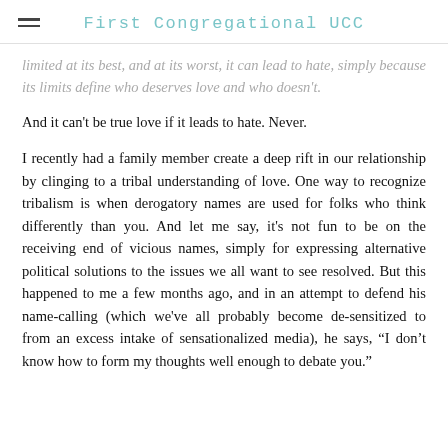First Congregational UCC
limited at its best, and at its worst, it can lead to hate, simply because its limits define who deserves love and who doesn't.
And it can't be true love if it leads to hate. Never.
I recently had a family member create a deep rift in our relationship by clinging to a tribal understanding of love. One way to recognize tribalism is when derogatory names are used for folks who think differently than you. And let me say, it's not fun to be on the receiving end of vicious names, simply for expressing alternative political solutions to the issues we all want to see resolved. But this happened to me a few months ago, and in an attempt to defend his name-calling (which we've all probably become de-sensitized to from an excess intake of sensationalized media), he says, “I don’t know how to form my thoughts well enough to debate you.”